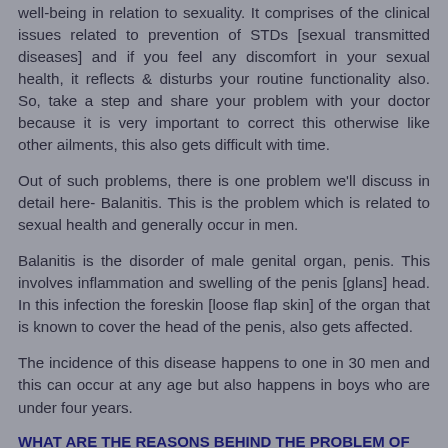well-being in relation to sexuality. It comprises of the clinical issues related to prevention of STDs [sexual transmitted diseases] and if you feel any discomfort in your sexual health, it reflects & disturbs your routine functionality also. So, take a step and share your problem with your doctor because it is very important to correct this otherwise like other ailments, this also gets difficult with time.
Out of such problems, there is one problem we'll discuss in detail here- Balanitis. This is the problem which is related to sexual health and generally occur in men.
Balanitis is the disorder of male genital organ, penis. This involves inflammation and swelling of the penis [glans] head. In this infection the foreskin [loose flap skin] of the organ that is known to cover the head of the penis, also gets affected.
The incidence of this disease happens to one in 30 men and this can occur at any age but also happens in boys who are under four years.
WHAT ARE THE REASONS BEHIND THE PROBLEM OF BALANITIS?
Following are the reasons that can cause Balanitis: